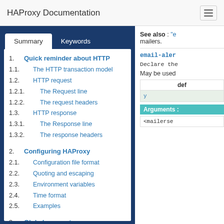HAProxy Documentation
1. Quick reminder about HTTP
1.1. The HTTP transaction model
1.2. HTTP request
1.2.1. The Request line
1.2.2. The request headers
1.3. HTTP response
1.3.1. The Response line
1.3.2. The response headers
2. Configuring HAProxy
2.1. Configuration file format
2.2. Quoting and escaping
2.3. Environment variables
2.4. Time format
2.5. Examples
3. Global parameters
See also : "e... mailers.
email-aler...
Declare the...
May be used...
def...
y...
Arguments :
<mailerse...